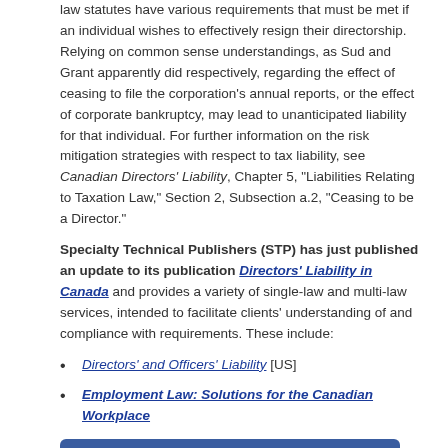law statutes have various requirements that must be met if an individual wishes to effectively resign their directorship. Relying on common sense understandings, as Sud and Grant apparently did respectively, regarding the effect of ceasing to file the corporation's annual reports, or the effect of corporate bankruptcy, may lead to unanticipated liability for that individual. For further information on the risk mitigation strategies with respect to tax liability, see Canadian Directors' Liability, Chapter 5, "Liabilities Relating to Taxation Law," Section 2, Subsection a.2, "Ceasing to be a Director."
Specialty Technical Publishers (STP) has just published an update to its publication Directors' Liability in Canada and provides a variety of single-law and multi-law services, intended to facilitate clients' understanding of and compliance with requirements. These include:
Directors' and Officers' Liability [US]
Employment Law: Solutions for the Canadian Workplace
Like What You've Read? Subscribe to Our Blog Now